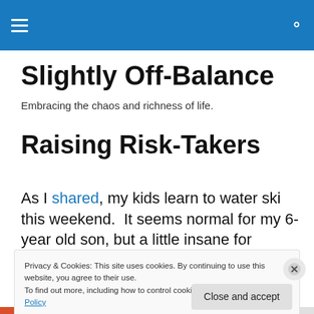Slightly Off-Balance — site header navigation bar
Slightly Off-Balance
Embracing the chaos and richness of life.
Raising Risk-Takers
As I shared, my kids learn to water ski this weekend.  It seems normal for my 6-year old son, but a little insane for
Privacy & Cookies: This site uses cookies. By continuing to use this website, you agree to their use.
To find out more, including how to control cookies, see here: Cookie Policy